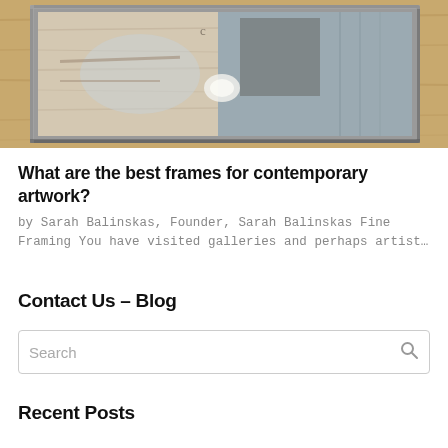[Figure (photo): Photograph of a contemporary artwork in a metal frame, showing abstract textures with wood, gray and blue tones, placed on a wooden surface.]
What are the best frames for contemporary artwork?
by Sarah Balinskas, Founder, Sarah Balinskas Fine Framing You have visited galleries and perhaps artist…
Contact Us – Blog
Search
Recent Posts